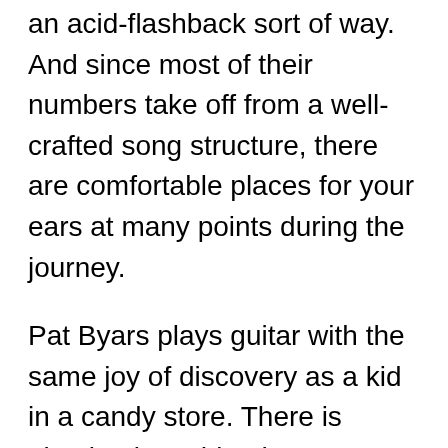an acid-flashback sort of way. And since most of their numbers take off from a well-crafted song structure, there are comfortable places for your ears at many points during the journey.
Pat Byars plays guitar with the same joy of discovery as a kid in a candy store. There is absolutely nothing he won't try as he paints an aural mural that glows and shimmers with exhilaration. Their music is rock, of course, but also contains twisted blues, some experimental touches, a taste of bluegrass, and even carnival calliope music. In short, it has all of the sounds a human can possibly conjure. He also keeps a small keyboard nearby and frequently utilizes it with his right